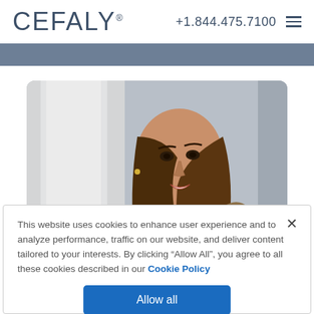CEFALY  +1.844.475.7100
[Figure (photo): A smiling young woman with long brown hair, wearing a white sleeveless top, photographed in front of a light-colored interior backdrop.]
This website uses cookies to enhance user experience and to analyze performance, traffic on our website, and deliver content tailored to your interests. By clicking “Allow All”, you agree to all these cookies described in our Cookie Policy
Allow all